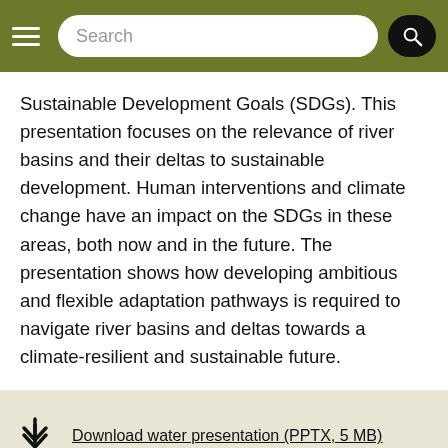Search
Sustainable Development Goals (SDGs). This presentation focuses on the relevance of river basins and their deltas to sustainable development. Human interventions and climate change have an impact on the SDGs in these areas, both now and in the future. The presentation shows how developing ambitious and flexible adaptation pathways is required to navigate river basins and deltas towards a climate-resilient and sustainable future.
Download water presentation (PPTX, 5 MB)